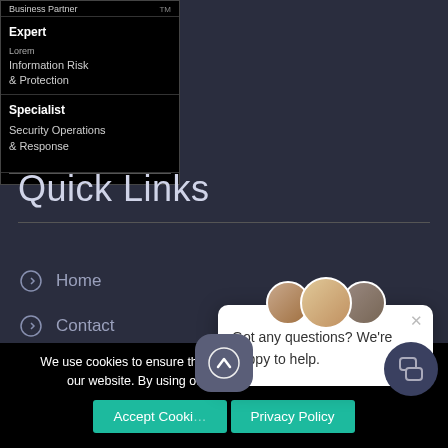[Figure (screenshot): Black card showing Expert label with Information Risk & Protection and Specialist label with Security Operations & Response categories]
Quick Links
Home
Contact
[Figure (screenshot): Chat popup with avatars saying Got any questions? We're happy to help.]
We use cookies to ensure that we give you the best experience on our website. By using our s…nsent to the use of coo…
Accept Cooki… • Privacy Policy